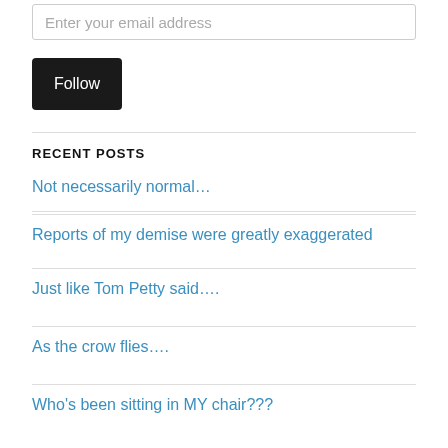Enter your email address
Follow
RECENT POSTS
Not necessarily normal…
Reports of my demise were greatly exaggerated
Just like Tom Petty said….
As the crow flies….
Who's been sitting in MY chair???